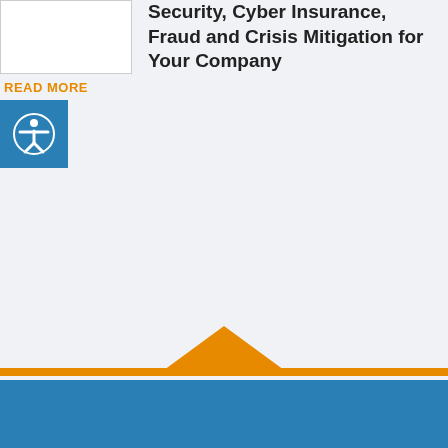[Figure (photo): White rectangular image placeholder, top left]
Security, Cyber Insurance, Fraud and Crisis Mitigation for Your Company
READ MORE
[Figure (other): Blue accessibility icon button with human figure in circle]
[Figure (other): Footer with orange triangle shape pointing upward over an orange horizontal line and blue bar at the bottom]